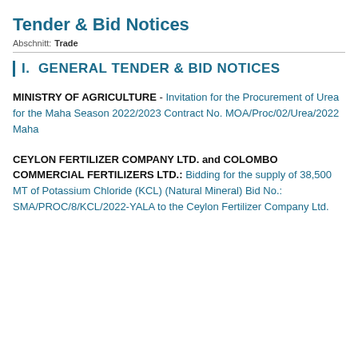Tender & Bid Notices
Abschnitt: Trade
I. GENERAL TENDER & BID NOTICES
MINISTRY OF AGRICULTURE - Invitation for the Procurement of Urea for the Maha Season 2022/2023 Contract No. MOA/Proc/02/Urea/2022 Maha
CEYLON FERTILIZER COMPANY LTD. and COLOMBO COMMERCIAL FERTILIZERS LTD.: Bidding for the supply of 38,500 MT of Potassium Chloride (KCL) (Natural Mineral) Bid No.: SMA/PROC/8/KCL/2022-YALA to the Ceylon Fertilizer Company Ltd.